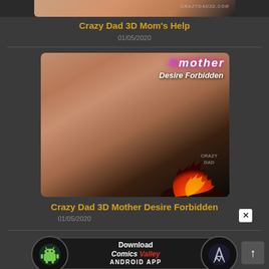[Figure (photo): Cropped 3D rendered image top portion with watermark text 'CRAZYDAD3D.COM']
Crazy Dad 3D Mom's Help
01/05/2020
[Figure (photo): 3D rendered image for 'Mother Desire Forbidden' showing animated figure with text overlays and fire effects and Crazy Dad logo]
Crazy Dad 3D Mother Desire Forbidden
01/05/2020
[Figure (infographic): Download Comics Valley Android App banner with Android robot icon and Comics Valley logo]